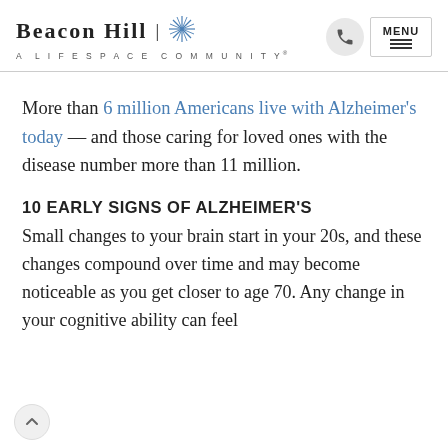Beacon Hill | A Lifespace Community
More than 6 million Americans live with Alzheimer’s today — and those caring for loved ones with the disease number more than 11 million.
10 EARLY SIGNS OF ALZHEIMER’S
Small changes to your brain start in your 20s, and these changes compound over time and may become noticeable as you get closer to age 70. Any change in your cognitive ability can feel